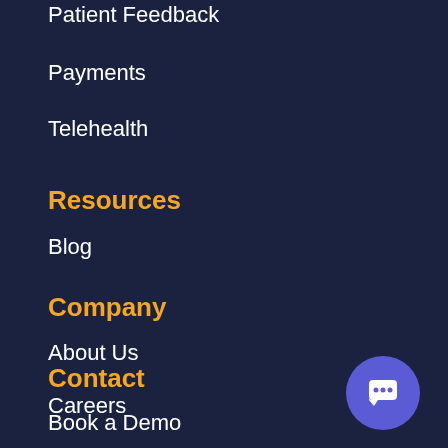Patient Feedback
Payments
Telehealth
Resources
Blog
Company
About Us
Careers
Contact
Book a Demo